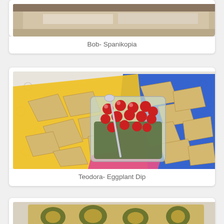[Figure (photo): Photo of Bob's Spanikopia dish on a table, partially visible at top of page]
Bob- Spanikopia
[Figure (photo): Photo of Teodora's Eggplant Dip - pita chips on yellow and blue plates with a glass dish of eggplant dip topped with cherry tomatoes, on a lace tablecloth]
Teodora- Eggplant Dip
[Figure (photo): Partial photo of another dish at bottom of page, yellowish baked food on a plate]